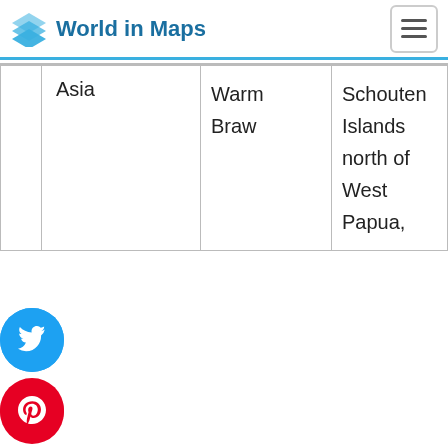World in Maps
|  | Asia | Warm Braw | Schouten Islands north of West Papua, |
e use cookies to give you the best perience on our website. By using this website you agree to the use of cookies and our Privacy Policy and Terms.